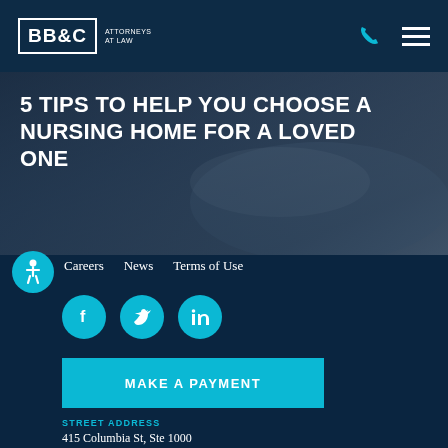BB&C Attorneys at Law
5 TIPS TO HELP YOU CHOOSE A NURSING HOME FOR A LOVED ONE
Careers   News   Terms of Use
[Figure (illustration): Social media icons: Facebook, Twitter, LinkedIn (teal circles)]
MAKE A PAYMENT
STREET ADDRESS
415 Columbia St, Ste 1000
Lafayette, IN 47901